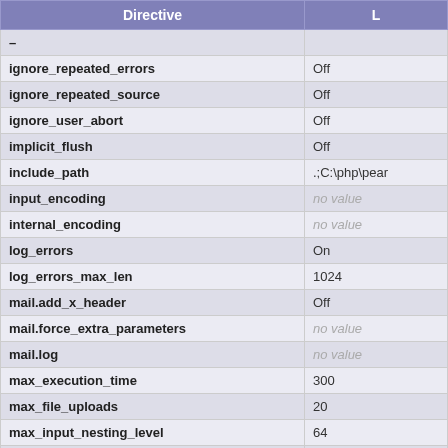| Directive | L |
| --- | --- |
| – |  |
| ignore_repeated_errors | Off |
| ignore_repeated_source | Off |
| ignore_user_abort | Off |
| implicit_flush | Off |
| include_path | .;C:\php\pear |
| input_encoding | no value |
| internal_encoding | no value |
| log_errors | On |
| log_errors_max_len | 1024 |
| mail.add_x_header | Off |
| mail.force_extra_parameters | no value |
| mail.log | no value |
| max_execution_time | 300 |
| max_file_uploads | 20 |
| max_input_nesting_level | 64 |
| max_input_time | 60 |
| max_input_vars | 2220 |
| memory_limit | 128M |